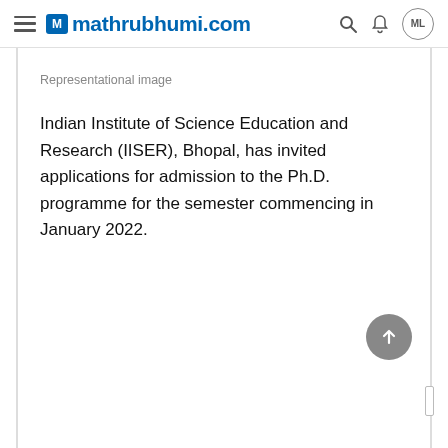mathrubhumi.com
Representational image
Indian Institute of Science Education and Research (IISER), Bhopal, has invited applications for admission to the Ph.D. programme for the semester commencing in January 2022.